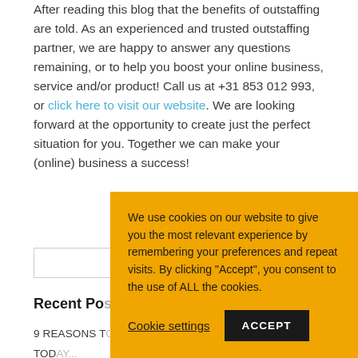After reading this blog that the benefits of outstaffing are told. As an experienced and trusted outstaffing partner, we are happy to answer any questions remaining, or to help you boost your online business, service and/or product! Call us at +31 853 012 993, or click here to visit our website. We are looking forward at the opportunity to create just the perfect situation for you. Together we can make your (online) business a success!
[Figure (screenshot): Search input box]
Recent Posts
9 REASONS TO...
TODAY...
We use cookies on our website to give you the most relevant experience by remembering your preferences and repeat visits. By clicking "Accept", you consent to the use of ALL the cookies.